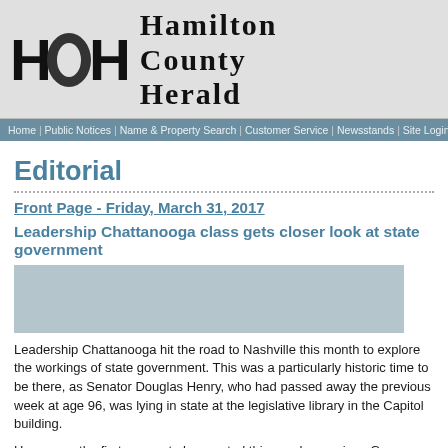[Figure (logo): Hamilton County Herald logo with HCH monogram and publication name]
Home | Public Notices | Name & Property Search | Customer Service | Newsstands | Site Login | Cor
Editorial
Front Page - Friday, March 31, 2017
Leadership Chattanooga class gets closer look at state government
Leadership Chattanooga hit the road to Nashville this month to explore the workings of state government. This was a particularly historic time to be there, as Senator Douglas Henry, who had passed away the previous week at age 96, was lying in state at the legislative library in the Capitol building.
Henry was the first person to be granted this rare honor since Gov. Austin Peay in 1927. Lawmakers, friends and other officials had pinned irises, the state flower of Tennessee, to their lapels. Henry's former desk in the Senate, now used by Sen. Gardenhire, was draped in black and had been adorned with irises.